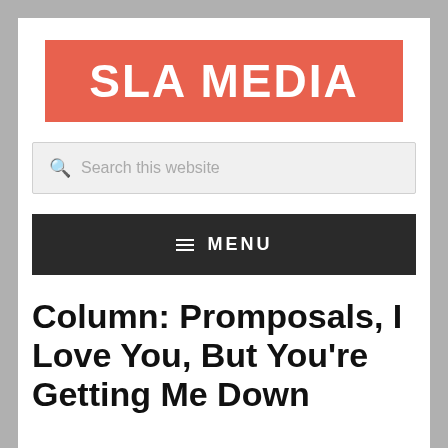[Figure (logo): SLA Media logo — white bold text on a coral/salmon red rectangle background]
Search this website
MENU
Column: Promposals, I Love You, But You're Getting Me Down